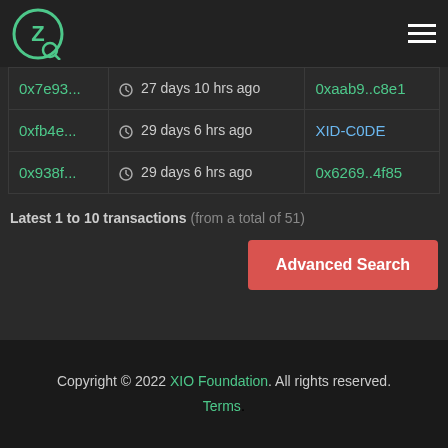Navigation header with logo and hamburger menu
| 0x7e93... | 27 days 10 hrs ago | 0xaab9..c8e1 |
| 0xfb4e... | 29 days 6 hrs ago | XID-CODE |
| 0x938f... | 29 days 6 hrs ago | 0x6269..4f85 |
Latest 1 to 10 transactions (from a total of 51)
Advanced Search
Copyright © 2022 XIO Foundation. All rights reserved. Terms.